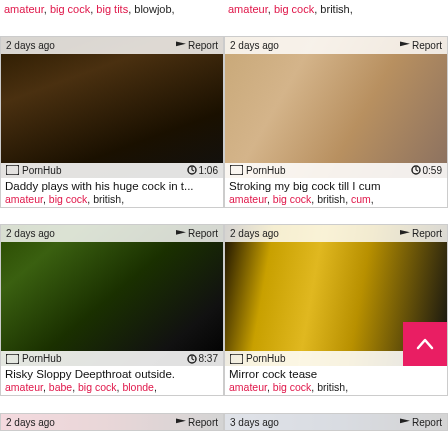amateur, big cock, big tits, blowjob,
amateur, big cock, british,
[Figure (screenshot): Video thumbnail dark indoor scene, PornHub label, duration 1:06, 2 days ago, Report]
Daddy plays with his huge cock in t...
amateur, big cock, british,
[Figure (screenshot): Video thumbnail close-up body, PornHub label, duration 0:59, 2 days ago, Report]
Stroking my big cock till I cum
amateur, big cock, british, cum,
[Figure (screenshot): Video thumbnail outdoor blowjob scene, PornHub label, duration 8:37, 2 days ago, Report]
Risky Sloppy Deepthroat outside.
amateur, babe, big cock, blonde,
[Figure (screenshot): Video thumbnail indoor mirror scene with back-to-top button, PornHub label, 2 days ago, Report]
Mirror cock tease
amateur, big cock, british,
[Figure (screenshot): Bottom strip left thumbnail, 2 days ago, Report]
[Figure (screenshot): Bottom strip right thumbnail, 3 days ago, Report]